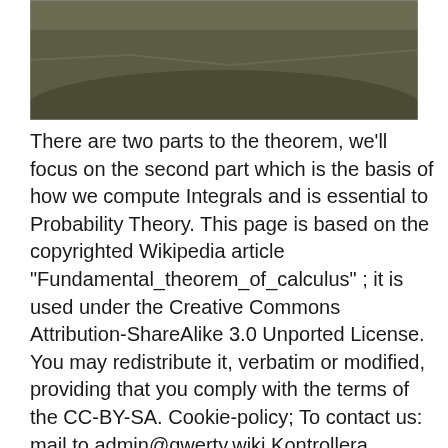[Figure (photo): Partial photo of a grassy hillside or landscape, cropped to show only the top portion with a dark, muted green/brown field.]
There are two parts to the theorem, we'll focus on the second part which is the basis of how we compute Integrals and is essential to Probability Theory. This page is based on the copyrighted Wikipedia article "Fundamental_theorem_of_calculus" ; it is used under the Creative Commons Attribution-ShareAlike 3.0 Unported License. You may redistribute it, verbatim or modified, providing that you comply with the terms of the CC-BY-SA. Cookie-policy; To contact us: mail to admin@qwerty.wiki Kontrollera 'fundamental theorem of arithmetic' översättningar till svenska.